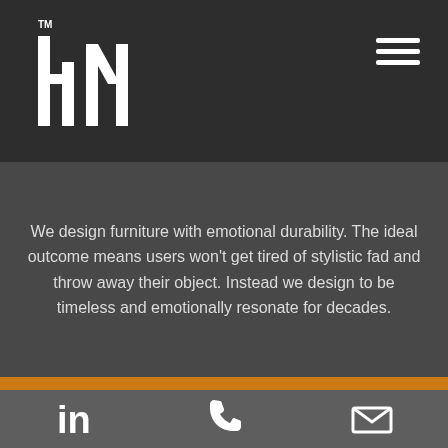[Figure (logo): HM furniture brand logo in white on dark background, with TM mark]
We design furniture with emotional durability. The ideal outcome means users won't get tired of stylistic fad and throw away their object. Instead we design to be timeless and emotionally resonate for decades.
MATERIALS
We apply cradle to cradle furniture solutions.  Solid wood
LinkedIn | Phone | Email icons